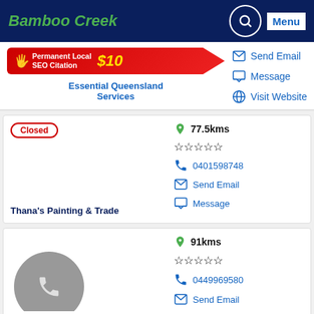Bamboo Creek
[Figure (infographic): SEO promotion banner: Permanent Local SEO Citation $10]
Essential Queensland Services
Send Email | Message | Visit Website
Closed
77.5kms
0401598748
Send Email | Message
Thana's Painting & Trade
91kms
0449969580
Send Email